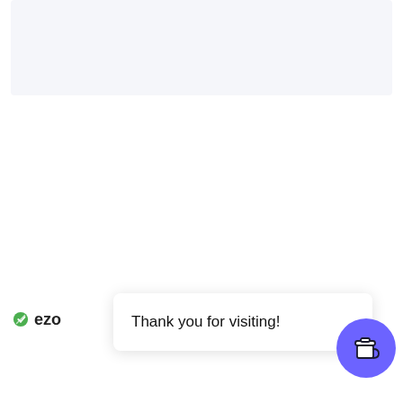[Figure (screenshot): Light gray rounded rectangle placeholder box at the top of the page]
[Figure (screenshot): EZO logo/icon with green circle and text 'ezo' partially visible on the left side of the bottom bar, with 'is ad' text partially visible on the right]
Thank you for visiting!
[Figure (illustration): Purple circular button with a coffee cup icon in the bottom right corner]